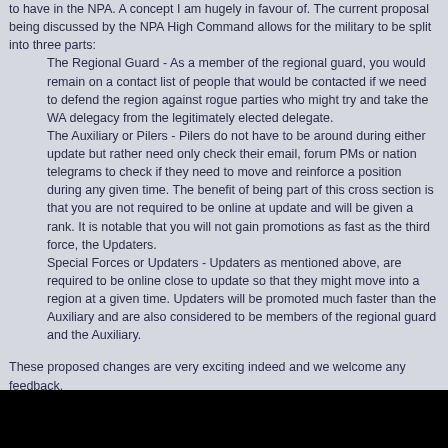to have in the NPA. A concept I am hugely in favour of. The current proposal being discussed by the NPA High Command allows for the military to be split into three parts:
The Regional Guard - As a member of the regional guard, you would remain on a contact list of people that would be contacted if we need to defend the region against rogue parties who might try and take the WA delegacy from the legitimately elected delegate.
The Auxiliary or Pilers - Pilers do not have to be around during either update but rather need only check their email, forum PMs or nation telegrams to check if they need to move and reinforce a position during any given time. The benefit of being part of this cross section is that you are not required to be online at update and will be given a rank. It is notable that you will not gain promotions as fast as the third force, the Updaters.
Special Forces or Updaters - Updaters as mentioned above, are required to be online close to update so that they might move into a region at a given time. Updaters will be promoted much faster than the Auxiliary and are also considered to be members of the regional guard and the Auxiliary.
These proposed changes are very exciting indeed and we welcome any feedback.
My favourite part of this job is recognising the hard work of dedicated soldiers. Borndisaster and Hileville are thus promoted to the rank of Corporal after assisting in recent missions and following orders to the letter.